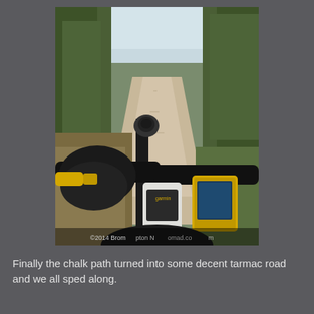[Figure (photo): First-person view from a bicycle on a chalk/gravel path lined with green bushes and trees. The rider's gloved hand grips the handlebar on the left. Two Garmin GPS devices are mounted on the handlebars. The path stretches ahead into the distance. A watermark reads '©2014 Brompton N... .m' at the bottom of the image.]
Finally the chalk path turned into some decent tarmac road and we all sped along.